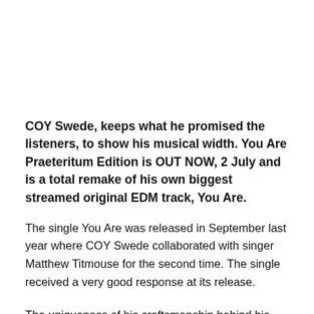COY Swede, keeps what he promised the listeners, to show his musical width. You Are Praeteritum Edition is OUT NOW, 2 July and is a total remake of his own biggest streamed original EDM track, You Are.
The single You Are was released in September last year where COY Swede collaborated with singer Matthew Titmouse for the second time. The single received a very good response at its release.
The uniqueness of his craftsmanship behind his music, is his own sound design. Every bit of a sound, instrument small or